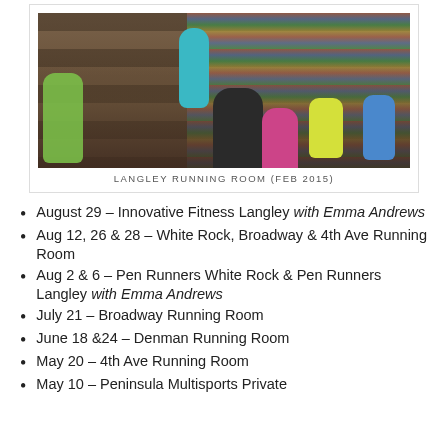[Figure (photo): Group of people gathered inside a running shoe store with shelves of shoes in the background. A presenter in a teal top stands at the front addressing the group, who are seated or standing facing her.]
LANGLEY RUNNING ROOM (FEB 2015)
August 29 – Innovative Fitness Langley with Emma Andrews
Aug 12, 26 & 28 – White Rock, Broadway & 4th Ave Running Room
Aug 2 & 6 – Pen Runners White Rock & Pen Runners Langley with Emma Andrews
July 21 – Broadway Running Room
June 18 &24 – Denman Running Room
May 20 – 4th Ave Running Room
May 10 – Peninsula Multisports Private